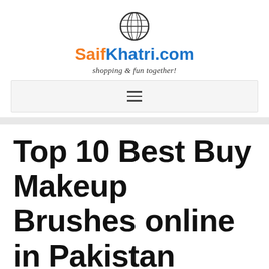[Figure (logo): Globe icon SVG above the SaifKhatri.com brand name]
SaifKhatri.com
shopping & fun together!
≡ (hamburger menu navigation bar)
Top 10 Best Buy Makeup Brushes online in Pakistan Comparison